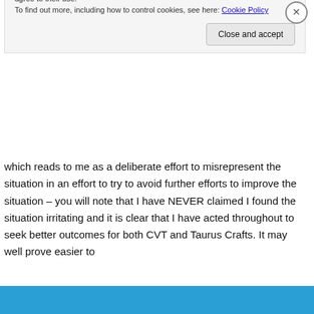make mistakes. If this irritates you, as it clearly appears to, please don't feel the need to visit.
which reads to me as a deliberate effort to misrepresent the situation in an effort to try to avoid further efforts to improve the situation – you will note that I have NEVER claimed I found the situation irritating and it is clear that I have acted throughout to seek better outcomes for both CVT and Taurus Crafts. It may well prove easier to
Privacy & Cookies: This site uses cookies. By continuing to use this website, you agree to their use.
To find out more, including how to control cookies, see here: Cookie Policy
Close and accept